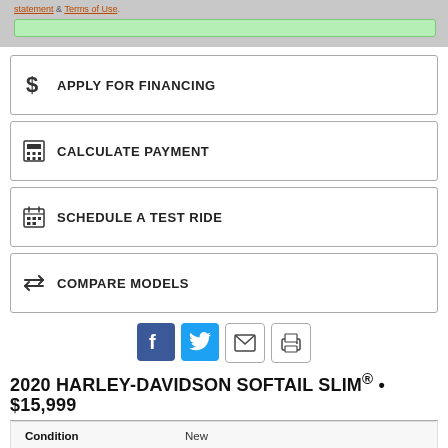statement & Terms of Use.
APPLY FOR FINANCING
CALCULATE PAYMENT
SCHEDULE A TEST RIDE
COMPARE MODELS
[Figure (other): Social sharing icons: Facebook, Twitter, Email, Print]
2020 HARLEY-DAVIDSON SOFTAIL SLIM® • $15,999
| Condition |  |
| --- | --- |
| Condition | New |